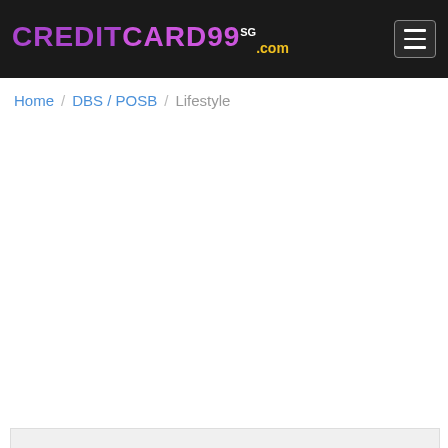CREDITCARD99.SG.com
Home / DBS / POSB / Lifestyle
[Figure (other): Advertisement placeholder area (blank white space)]
DBS / POSB Lifestyle Promotion
[Figure (photo): Partial view of a card or promotional image at the bottom, partially cut off]